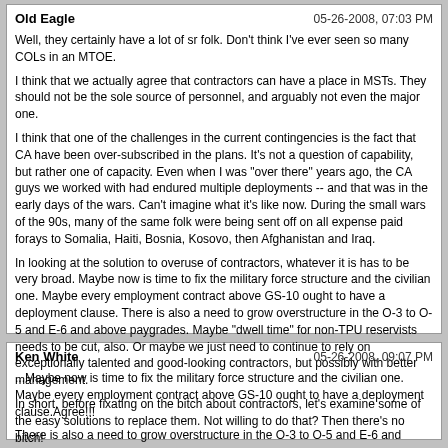Old Eagle | 05-26-2008, 07:03 PM

Well, they certainly have a lot of sr folk. Don't think I've ever seen so many COLs in an MTOE.

I think that we actually agree that contractors can have a place in MSTs. They should not be the sole source of personnel, and arguably not even the major one.

I think that one of the challenges in the current contingencies is the fact that CA have been over-subscribed in the plans. It's not a question of capability, but rather one of capacity. Even when I was "over there" years ago, the CA guys we worked with had endured multiple deployments -- and that was in the early days of the wars. Can't imagine what it's like now. During the small wars of the 90s, many of the same folk were being sent off on all expense paid forays to Somalia, Haiti, Bosnia, Kosovo, then Afghanistan and Iraq.

In looking at the solution to overuse of contractors, whatever it is has to be very broad. Maybe now is time to fix the military force structure and the civilian one. Maybe every employment contract above GS-10 ought to have a deployment clause. There is also a need to grow overstructure in the O-3 to O-5 and E-6 and above paygrades. Maybe "dwell time" for non-TPU reservists needs to be cut, also. Or maybe we just need to continue to rely on exceptionally talented and good-looking contractors, but possibly with better management.

In short, before fixating on the bitch about contractors, let's examine some of the easy solutions to replace them. Not willing to do that? Then there's no bitch!
Ken White | 05-26-2008, 09:07 PM

...Maybe now is time to fix the military force structure and the civilian one. Maybe every employment contract above GS-10 ought to have a deployment clause.Agree!!!
There is also a need to grow overstructure in the O-3 to O-5 and E-6 and